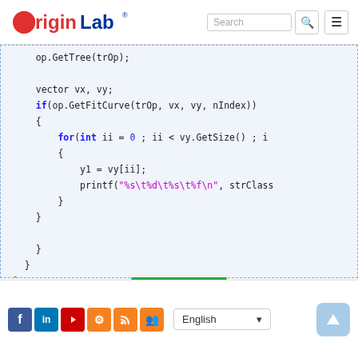OriginLab
[Figure (screenshot): Code block showing C++ code snippet with syntax highlighting: op.GetTree(trOp); vector vx, vy; if(op.GetFitCurve(trOp, vx, vy, nIndex)) { for(int ii = 0 ; ii < vy.GetSize() ; ii++) { y1 = vy[ii]; printf("%s\t%d\t%s\t%f\n", strClass... } } } } }]
Social icons: Facebook, LinkedIn, YouTube, Settings, RSS, Groups | English language selector | Scroll to top button